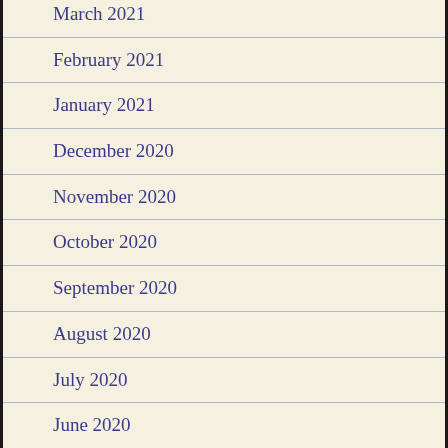March 2021
February 2021
January 2021
December 2020
November 2020
October 2020
September 2020
August 2020
July 2020
June 2020
May 2020
April 2020
March 2020
February 2020